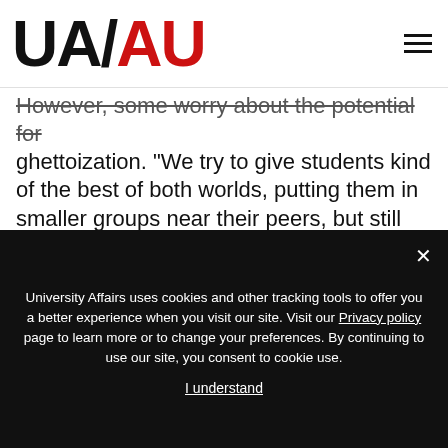UA/AU
However, some worry about the potential for ghettoization. “We try to give students kind of the best of both worlds, putting them in smaller groups near their peers, but still within larger areas that have students from a variety of programs, so they can get that interdisciplinary interaction too,” says U of Waterloo’s Ms. McNown-Smith. At U of R, some LLCs are intentionally housed more closely together in four-bedroom apartment-style residences that share a kitchen. “They’re not only
University Affairs uses cookies and other tracking tools to offer you a better experience when you visit our site. Visit our Privacy policy page to learn more or to change your preferences. By continuing to use our site, you consent to cookie use.

I understand